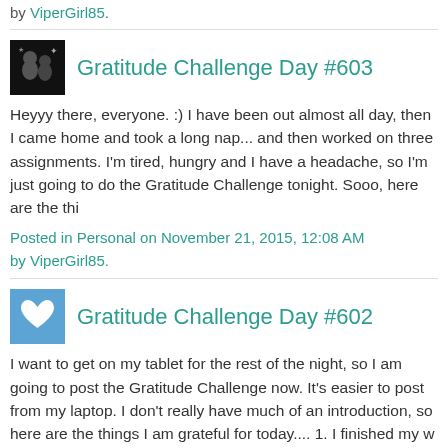by ViperGirl85.
Gratitude Challenge Day #603
Heyyy there, everyone. :) I have been out almost all day, then I came home and took a long nap... and then worked on three assignments. I'm tired, hungry and I have a headache, so I'm just going to do the Gratitude Challenge tonight. Sooo, here are the thi
Posted in Personal on November 21, 2015, 12:08 AM by ViperGirl85.
Gratitude Challenge Day #602
I want to get on my tablet for the rest of the night, so I am going to post the Gratitude Challenge now. It's easier to post from my laptop. I don't really have much of an introduction, so here are the things I am grateful for today.... 1. I finished my w
Posted in Personal on November 19, 2015, 7:56 PM